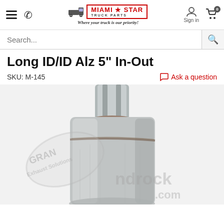Miami Star Truck Parts — Where your truck is our priority!
Search...
Long ID/ID Alz 5" In-Out
SKU: M-145
Ask a question
[Figure (photo): Close-up product photo of a cylindrical aluminized muffler with a pipe inlet at the top, showing weld seams and metal surface texture. Watermark overlay reads 'GRAND ROCK' and 'Exhaust Solutions' on left side, and 'grandrock.com' on right side.]